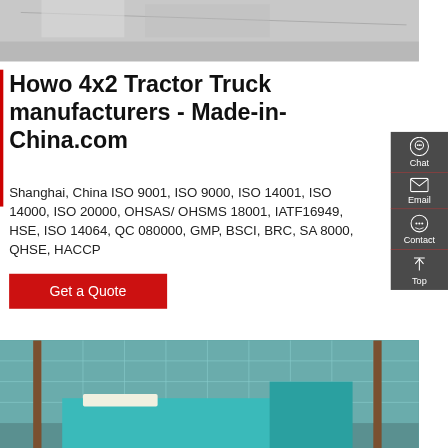[Figure (photo): Top portion of a vehicle or road surface, light gray/concrete tones]
Howo 4x2 Tractor Truck manufacturers - Made-in-China.com
Shanghai, China ISO 9001, ISO 9000, ISO 14001, ISO 14000, ISO 20000, OHSAS/ OHSMS 18001, IATF16949, HSE, ISO 14064, QC 080000, GMP, BSCI, BRC, SA 8000, QHSE, HACCP
Get a Quote
[Figure (photo): Tractor truck (teal/turquoise color) parked in front of a large glass-facade building]
Chat
Email
Contact
Top